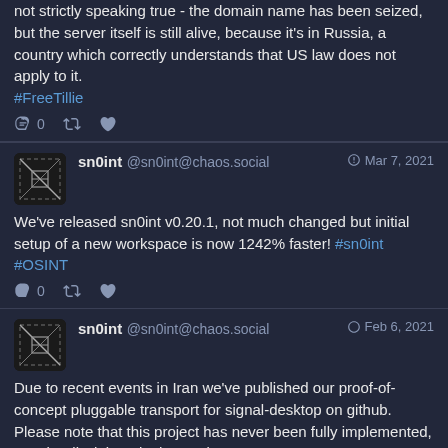not strictly speaking true - the domain name has been seized, but the server itself is still alive, because it's in Russia, a country which correctly understands that US law does not apply to it. #FreeTillie
sn0int @sn0int@chaos.social Mar 7, 2021 We've released sn0int v0.20.1, not much changed but initial setup of a new workspace is now 1242% faster! #sn0int #OSINT
sn0int @sn0int@chaos.social Feb 6, 2021 Due to recent events in Iran we've published our proof-of-concept pluggable transport for signal-desktop on github. Please note that this project has never been fully implemented, see the disclaimer in the readme: github.com/kpcyrd/signal-doh-e...